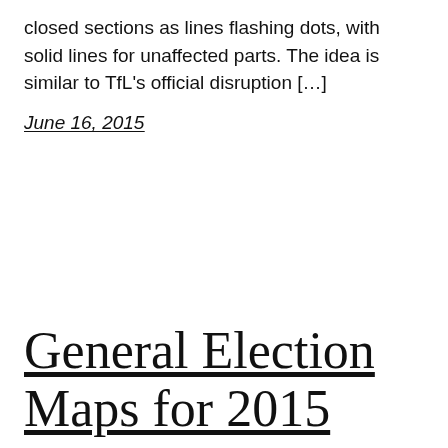closed sections as lines flashing dots, with solid lines for unaffected parts. The idea is similar to TfL's official disruption […]
June 16, 2015
General Election Maps for 2015